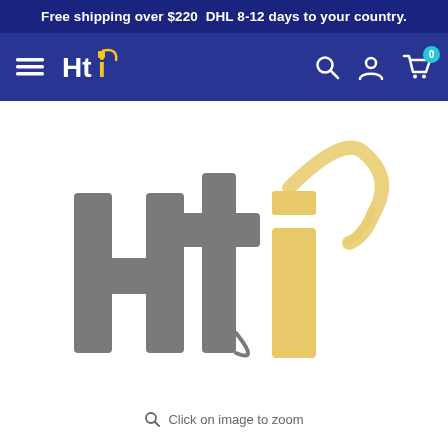Free shipping over $220  DHL 8-12 days to your country.
[Figure (logo): HTi navigation bar logo - white text Hti with yellow orbital swoosh on dark blue background, with hamburger menu, search, account, and cart icons]
[Figure (logo): HTi company logo - large grey letters H, t with golden/yellow i character and a golden orbital swoosh arc above, on white background]
Click on image to zoom